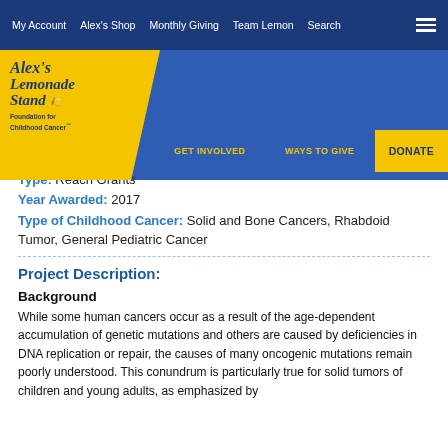My Account  Alex's Shop  Monthly Giving  Team Lemon  Search
[Figure (logo): Alex's Lemonade Stand Foundation for Childhood Cancer logo with navigation: GET INVOLVED, WAYS TO GIVE, DONATE]
Type:  Reach Grants
Year Awarded:  2017
Type of Childhood Cancer:  Solid and Bone Cancers, Rhabdoid Tumor, General Pediatric Cancer
Project Description:
Background
While some human cancers occur as a result of the age-dependent accumulation of genetic mutations and others are caused by deficiencies in DNA replication or repair, the causes of many oncogenic mutations remain poorly understood. This conundrum is particularly true for solid tumors of children and young adults, as emphasized by